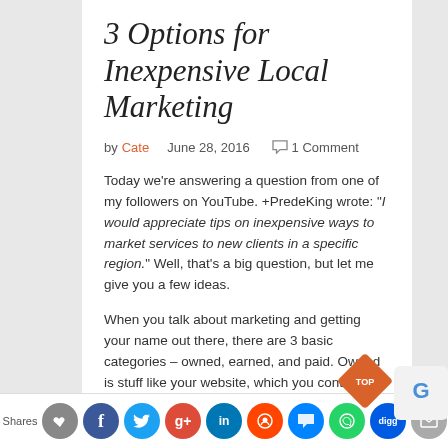3 Options for Inexpensive Local Marketing
by Cate   June 28, 2016   1 Comment
Today we're answering a question from one of my followers on YouTube. +PredeKing wrote: "I would appreciate tips on inexpensive ways to market services to new clients in a specific region." Well, that's a big question, but let me give you a few ideas.
When you talk about marketing and getting your name out there, there are 3 basic categories – owned, earned, and paid. Owned is stuff like your website, which you control; earned is stuff like media attention,
Shares [social share buttons]